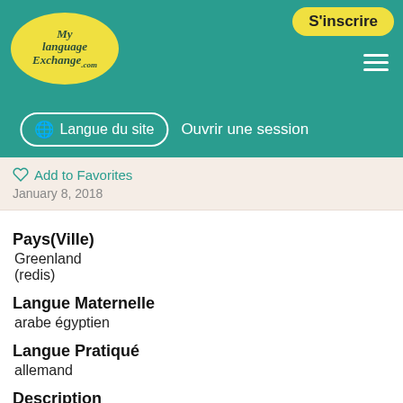[Figure (logo): MyLanguageExchange.com logo — yellow oval with cursive text]
S'inscrire
Langue du site   Ouvrir une session
Add to Favorites
January 8, 2018
Pays(Ville)
Greenland
(redis)
Langue Maternelle
arabe égyptien
Langue Pratiqué
allemand
Description
my name is Hassan I am looking for some one to practice German with
Nom